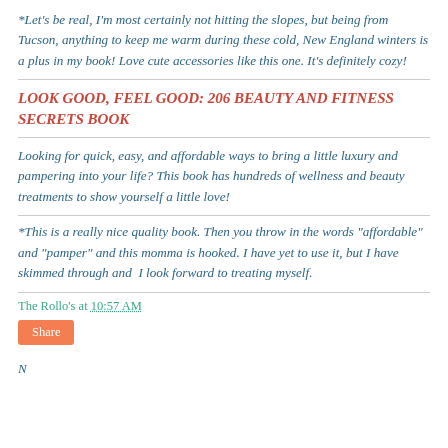*Let's be real, I'm most certainly not hitting the slopes, but being from Tucson, anything to keep me warm during these cold, New England winters is a plus in my book! Love cute accessories like this one. It's definitely cozy!
LOOK GOOD, FEEL GOOD: 206 BEAUTY AND FITNESS SECRETS BOOK
Looking for quick, easy, and affordable ways to bring a little luxury and pampering into your life? This book has hundreds of wellness and beauty treatments to show yourself a little love!
*This is a really nice quality book. Then you throw in the words "affordable" and "pamper" and this momma is hooked. I have yet to use it, but I have skimmed through and  I look forward to treating myself.
The Rollo's at 10:57 AM
Share
No